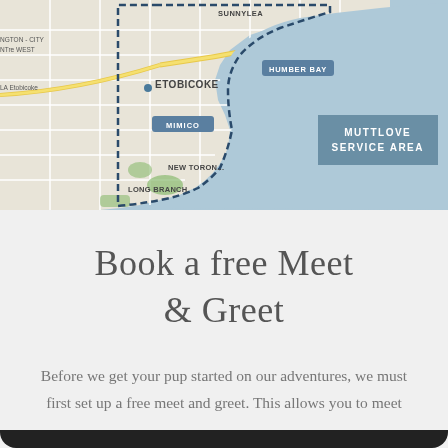[Figure (map): A street map showing the Muttlove service area in western Toronto, including neighborhoods such as Etobicoke, Mimico, New Toronto, Long Branch, Sunnylea, and Humber Bay. A dashed boundary line outlines the service area. The map shows streets, a waterfront, and Lake Ontario to the south and east. A teal/blue labeled overlay reads 'MUTTLOVE SERVICE AREA'.]
Book a free Meet & Greet
Before we get your pup started on our adventures, we must first set up a free meet and greet. This allows you to meet